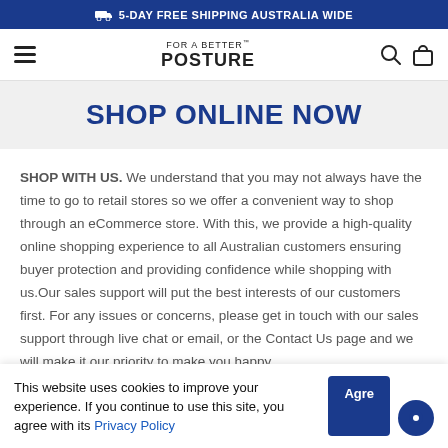🚚 5-DAY FREE SHIPPING AUSTRALIA WIDE
[Figure (screenshot): Navigation bar with hamburger menu, FOR A BETTER POSTURE logo, search icon, and bag icon]
SHOP ONLINE NOW
SHOP WITH US. We understand that you may not always have the time to go to retail stores so we offer a convenient way to shop through an eCommerce store. With this, we provide a high-quality online shopping experience to all Australian customers ensuring buyer protection and providing confidence while shopping with us.Our sales support will put the best interests of our customers first. For any issues or concerns, please get in touch with our sales support through live chat or email, or the Contact Us page and we will make it our priority to make you happy
This website uses cookies to improve your experience. If you continue to use this site, you agree with its Privacy Policy